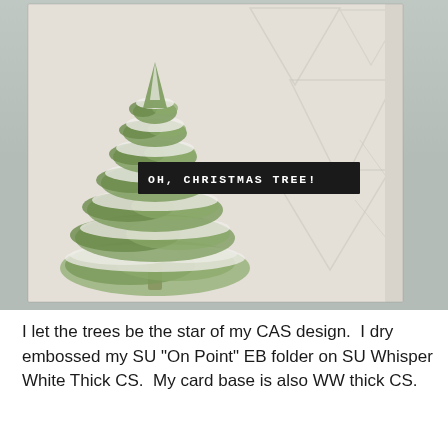[Figure (photo): A handmade Christmas card featuring a watercolor green pine tree with snow on its branches, placed on a cream/beige card base with embossed triangle pattern in background. A black banner sentiment reads 'OH, CHRISTMAS TREE!' A watermark with a bare tree logo and text 'nancy littrell scandinancycreates' appears in the lower right.]
I let the trees be the star of my CAS design.  I dry embossed my SU "On Point" EB folder on SU Whisper White Thick CS.  My card base is also WW thick CS.